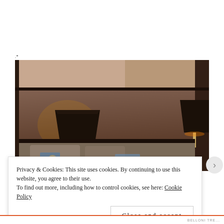.*
.*
[Figure (photo): Hotel bedroom interior with dark four-poster bed frame, black lamp shades on silver lamps, warm amber lighting, and decorative elements on the bed]
Privacy & Cookies: This site uses cookies. By continuing to use this website, you agree to their use.
To find out more, including how to control cookies, see here: Cookie Policy
Close and accept